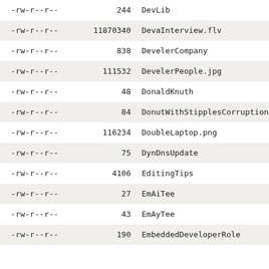| permissions | size | name |
| --- | --- | --- |
| -rw-r--r-- | 244 | DevLib |
| -rw-r--r-- | 11870340 | DevaInterview.flv |
| -rw-r--r-- | 838 | DevelerCompany |
| -rw-r--r-- | 111532 | DevelerPeople.jpg |
| -rw-r--r-- | 48 | DonaldKnuth |
| -rw-r--r-- | 84 | DonutWithStipplesCorruption |
| -rw-r--r-- | 116234 | DoubleLaptop.png |
| -rw-r--r-- | 75 | DynDnsUpdate |
| -rw-r--r-- | 4106 | EditingTips |
| -rw-r--r-- | 27 | EmAiTee |
| -rw-r--r-- | 43 | EmAyTee |
| -rw-r--r-- | 190 | EmbeddedDeveloperRole |